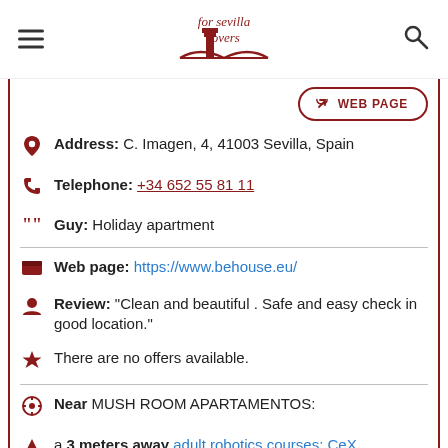for sevilla lovers
WEB PAGE
Address: C. Imagen, 4, 41003 Sevilla, Spain
Telephone: +34 652 55 81 11
Guy: Holiday apartment
Web page: https://www.behouse.eu/
Review: "Clean and beautiful . Safe and easy check in good location."
There are no offers available.
Near MUSH ROOM APARTAMENTOS:
a 3 meters away adult robotics courses: CeX
Are you the owner of the business? PROMOTE